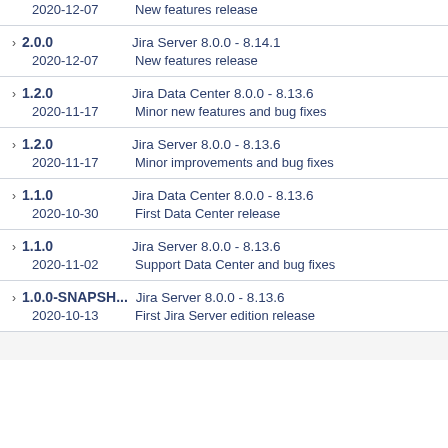2020-12-07  New features release (partial top, version cut off)
2.0.0  Jira Server 8.0.0 - 8.14.1  |  2020-12-07  New features release
1.2.0  Jira Data Center 8.0.0 - 8.13.6  |  2020-11-17  Minor new features and bug fixes
1.2.0  Jira Server 8.0.0 - 8.13.6  |  2020-11-17  Minor improvements and bug fixes
1.1.0  Jira Data Center 8.0.0 - 8.13.6  |  2020-10-30  First Data Center release
1.1.0  Jira Server 8.0.0 - 8.13.6  |  2020-11-02  Support Data Center and bug fixes
1.0.0-SNAPSH...  Jira Server 8.0.0 - 8.13.6  |  2020-10-13  First Jira Server edition release